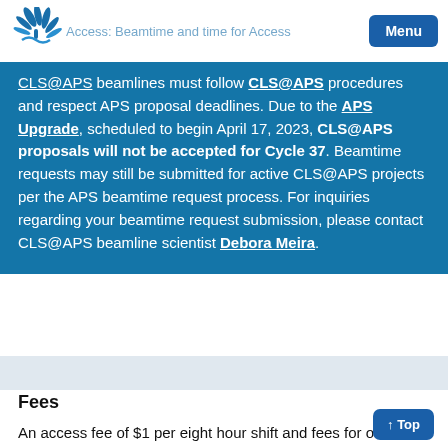Access: Beamtime and time for access
CLS@APS beamlines must follow CLS@APS procedures and respect APS proposal deadlines. Due to the APS Upgrade, scheduled to begin April 17, 2023, CLS@APS proposals will not be accepted for Cycle 37. Beamtime requests may still be submitted for active CLS@APS projects per the APS beamtime request process. For inquiries regarding your beamtime request submission, please contact CLS@APS beamline scientist Debora Meira.
Fees
An access fee of $1 per eight hour shift and fees for other items such as materials, supplies, and/or shipping/receiving of samples and products are